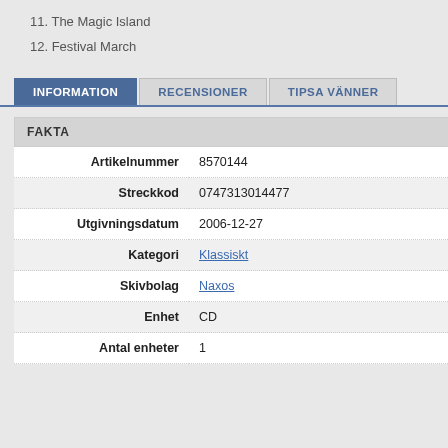11. The Magic Island
12. Festival March
INFORMATION | RECENSIONER | TIPSA VÄNNER
| FAKTA |  |
| --- | --- |
| Artikelnummer | 8570144 |
| Streckkod | 0747313014477 |
| Utgivningsdatum | 2006-12-27 |
| Kategori | Klassiskt |
| Skivbolag | Naxos |
| Enhet | CD |
| Antal enheter | 1 |
| UTÖVARE |  |
| --- | --- |
| Art |  |
| Dirigo |  |
| Komposit |  |